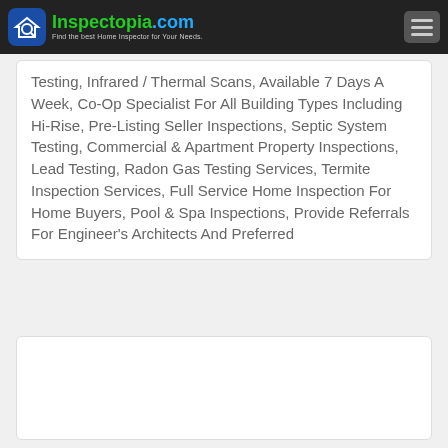Inspectopia.com — Find the best Home Inspector for Your Needs.
Testing, Infrared / Thermal Scans, Available 7 Days A Week, Co-Op Specialist For All Building Types Including Hi-Rise, Pre-Listing Seller Inspections, Septic System Testing, Commercial & Apartment Property Inspections, Lead Testing, Radon Gas Testing Services, Termite Inspection Services, Full Service Home Inspection For Home Buyers, Pool & Spa Inspections, Provide Referrals For Engineer's Architects And Preferred